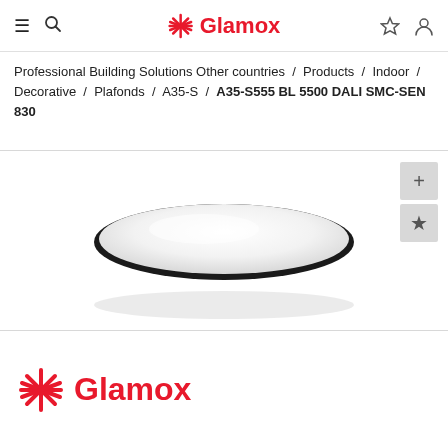Glamox — navigation header with hamburger, search, logo, star and account icons
Professional Building Solutions Other countries / Products / Indoor / Decorative / Plafonds / A35-S / A35-S555 BL 5500 DALI SMC-SEN 830
[Figure (photo): Circular ceiling luminaire with white opal diffuser and dark rim, viewed from a slight angle]
[Figure (logo): Glamox logo with red snowflake/asterisk icon and Glamox text in red]